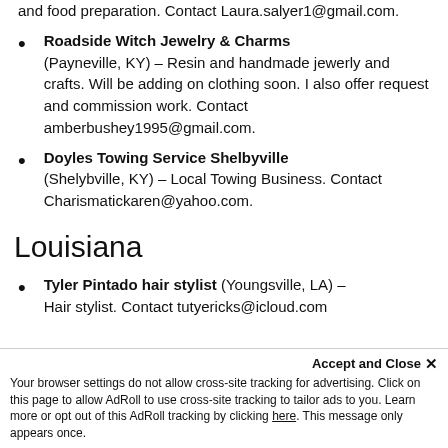and food preparation. Contact Laura.salyer1@gmail.com.
Roadside Witch Jewelry & Charms (Payneville, KY) – Resin and handmade jewerly and crafts. Will be adding on clothing soon. I also offer request and commission work. Contact amberbushey1995@gmail.com.
Doyles Towing Service Shelbyville (Shelybville, KY) – Local Towing Business. Contact Charismatickaren@yahoo.com.
Louisiana
Tyler Pintado hair stylist (Youngsville, LA) – Hair stylist. Contact tutyericks@icloud.com
Your browser settings do not allow cross-site tracking for advertising. Click on this page to allow AdRoll to use cross-site tracking to tailor ads to you. Learn more or opt out of this AdRoll tracking by clicking here. This message only appears once.